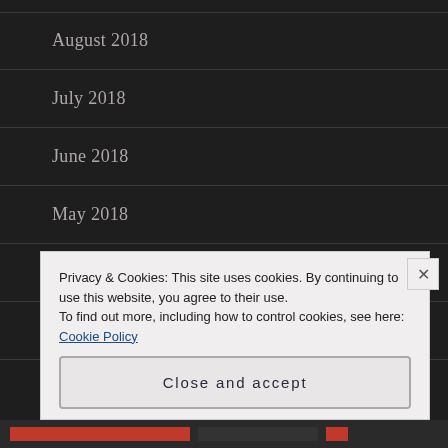August 2018
July 2018
June 2018
May 2018
April 2018
March 2018
February 2018
Privacy & Cookies: This site uses cookies. By continuing to use this website, you agree to their use.
To find out more, including how to control cookies, see here: Cookie Policy
Close and accept